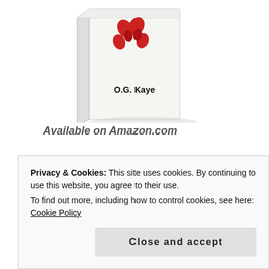[Figure (photo): Book cover showing red heart/butterfly design with author name O.G. Kaye, displayed as a 3D book]
Available on Amazon.com
[Figure (photo): Book cover showing 'Words We Carry: Essays of Obsession' displayed as a 3D book with beige/tan cover]
Privacy & Cookies: This site uses cookies. By continuing to use this website, you agree to their use.
To find out more, including how to control cookies, see here: Cookie Policy
Close and accept